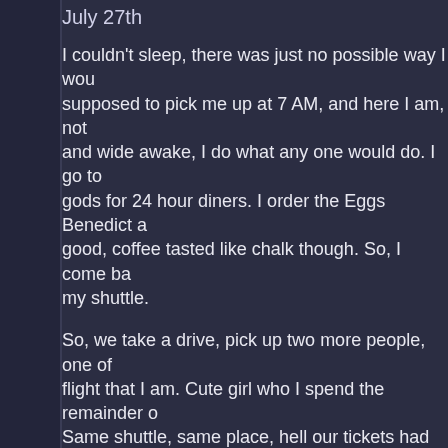July 27th
I couldn't sleep, there was just no possible way I wou... supposed to pick me up at 7 AM, and here I am, not... and wide awake, I do what any one would do. I go to... gods for 24 hour diners. I order the Eggs Benedict a... good, coffee tasted like chalk though. So, I come ba... my shuttle.
So, we take a drive, pick up two more people, one of... flight that I am. Cute girl who I spend the remainder o... Same shuttle, same place, hell our tickets had us sittt... I never caught her name, which kinda bums me out n...
So, we soon arrive at John F. Kennedy airport. I hate... JFK is a very hard airport to find your way around wit... place is HUGE! JFK is it's own enclosed city, it has i...
And now it's time for my rant on Airport Security... firs... wearing my trench, I'm wearing a black suit jacket (n... banquet), and Security is all over me, everything exc... THey pull me to the side to further frisk me, and my Z... checked luggage and confiscated... I was pissed. Bu...